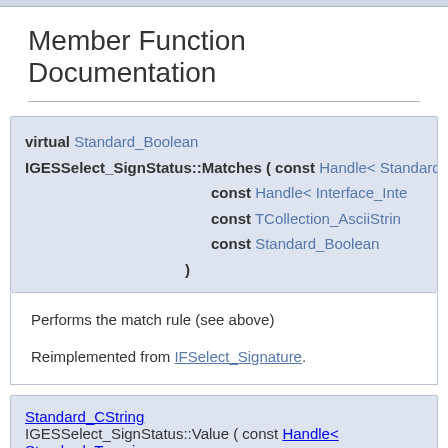Member Function Documentation
virtual Standard_Boolean IGESSelect_SignStatus::Matches ( const Handle< Standard_Tra... const Handle< Interface_Inte... const TCollection_AsciiStrin... const Standard_Boolean )
Performs the match rule (see above)
Reimplemented from IFSelect_Signature.
Standard_CString IGESSelect_SignStatus::Value ( const Handle< Standard_Transi... const Handle< Interface_Interfa...